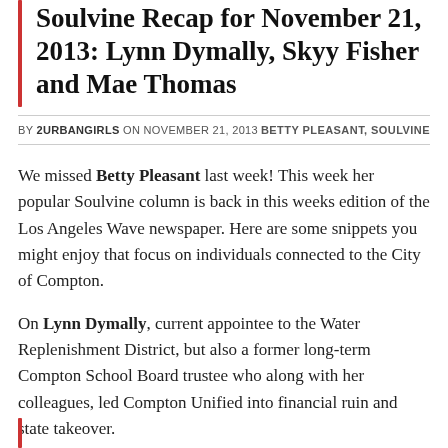Soulvine Recap for November 21, 2013: Lynn Dymally, Skyy Fisher and Mae Thomas
BY 2URBANGIRLS ON NOVEMBER 21, 2013   BETTY PLEASANT, SOULVINE
We missed Betty Pleasant last week!  This week her popular Soulvine column is back in this weeks edition of the Los Angeles Wave newspaper.  Here are some snippets you might enjoy that focus on individuals connected to the City of Compton.
On Lynn Dymally, current appointee to the Water Replenishment District, but also a former long-term Compton School Board trustee who along with her colleagues, led Compton Unified into financial ruin and state takeover.